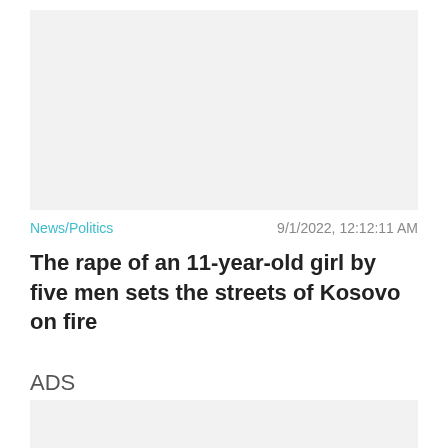[Figure (other): Gray placeholder image box at top of article]
News/Politics   9/1/2022, 12:12:11 AM
The rape of an 11-year-old girl by five men sets the streets of Kosovo on fire
ADS
[Figure (other): Gray advertisement placeholder box with Close X button]